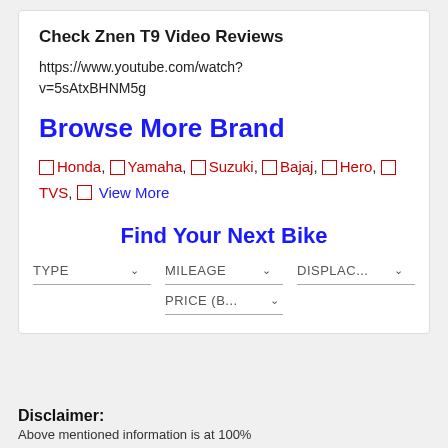Check Znen T9 Video Reviews
https://www.youtube.com/watch?v=5sAtxBHNM5g
Browse More Brand
Honda, Yamaha, Suzuki, Bajaj, Hero, TVS, View More
Find Your Next Bike
TYPE  MILEAGE  DISPLAC...  PRICE (B...
Disclaimer:
Above mentioned information is at 100%